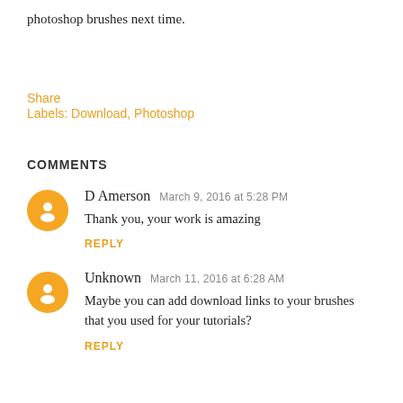photoshop brushes next time.
Share
Labels: Download, Photoshop
COMMENTS
D Amerson  March 9, 2016 at 5:28 PM
Thank you, your work is amazing
REPLY
Unknown  March 11, 2016 at 6:28 AM
Maybe you can add download links to your brushes that you used for your tutorials?
REPLY